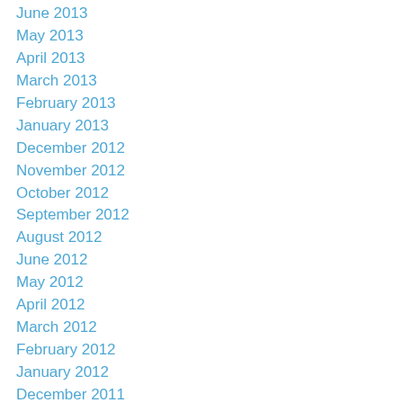June 2013
May 2013
April 2013
March 2013
February 2013
January 2013
December 2012
November 2012
October 2012
September 2012
August 2012
June 2012
May 2012
April 2012
March 2012
February 2012
January 2012
December 2011
November 2011
October 2011